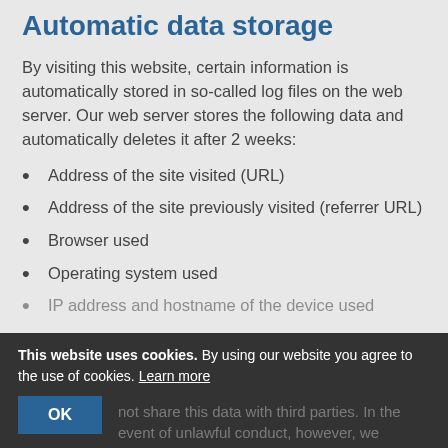Automatic data storage
By visiting this website, certain information is automatically stored in so-called log files on the web server. Our web server stores the following data and automatically deletes it after 2 weeks:
Address of the site visited (URL)
Address of the site previously visited (referrer URL)
Browser used
Operating system used
IP address and hostname of the device used
This website uses cookies. By using our website you agree to the use of cookies. Learn more
not share this data with third parties. In the event of unlawful conduct, however, we